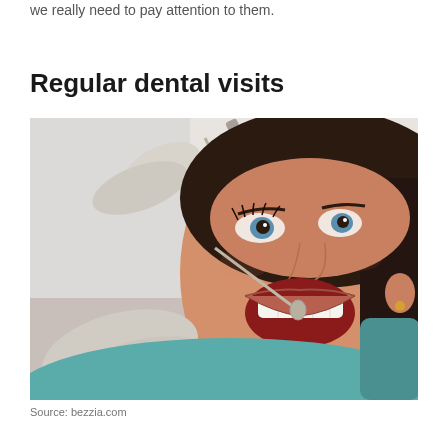we really need to pay attention to them.
Regular dental visits
[Figure (photo): A woman with dark hair reclines in a dental chair with her mouth open, while a dentist in white gloves examines her teeth using dental instruments including a mirror and probe.]
Source: bezzia.com